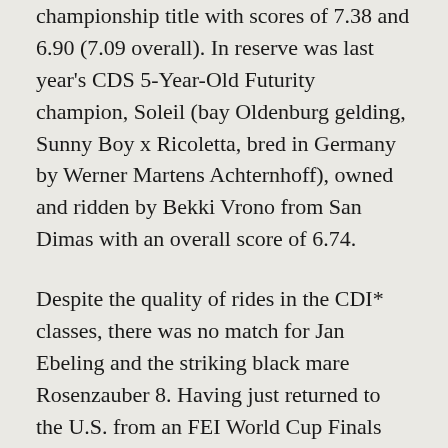championship title with scores of 7.38 and 6.90 (7.09 overall). In reserve was last year's CDS 5-Year-Old Futurity champion, Soleil (bay Oldenburg gelding, Sunny Boy x Ricoletta, bred in Germany by Werner Martens Achternhoff), owned and ridden by Bekki Vrono from San Dimas with an overall score of 6.74.
Despite the quality of rides in the CDI* classes, there was no match for Jan Ebeling and the striking black mare Rosenzauber 8. Having just returned to the U.S. from an FEI World Cup Finals appearance, Ebeling rode Deborah Harlan's 10-year-old Hanoverian (Rotspon x Shining Sun by Shogun) to a sweep of the division with strong scores of 70.263% in the Prix St. Georges, 70.702% in the Intermediaire I, and 70.292% in the Freestyle.
“My favorite things about this mare are her lightness